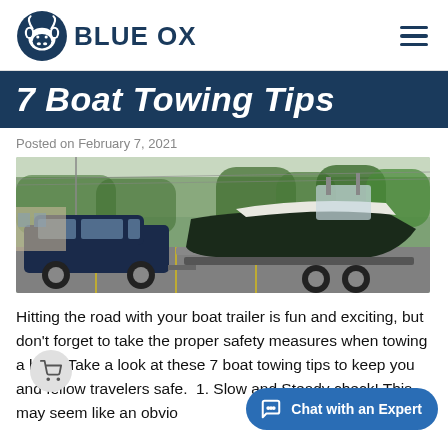BLUE OX
7 Boat Towing Tips
Posted on February 7, 2021
[Figure (photo): A dark blue SUV towing a large white and dark green motorboat on a trailer in a parking lot, with trees and utility lines in the background.]
Hitting the road with your boat trailer is fun and exciting, but don't forget to take the proper safety measures when towing a boat. Take a look at these 7 boat towing tips to keep you and fellow travelers safe.  1. Slow and Steady check! This may seem like an obvio